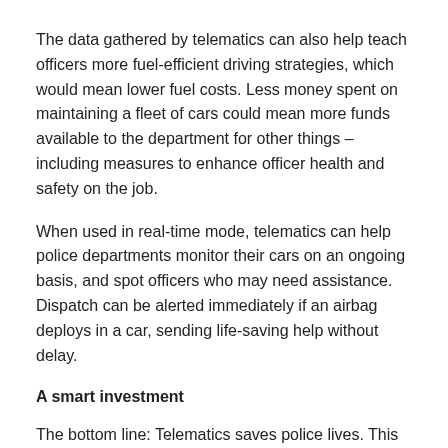The data gathered by telematics can also help teach officers more fuel-efficient driving strategies, which would mean lower fuel costs. Less money spent on maintaining a fleet of cars could mean more funds available to the department for other things – including measures to enhance officer health and safety on the job.
When used in real-time mode, telematics can help police departments monitor their cars on an ongoing basis, and spot officers who may need assistance. Dispatch can be alerted immediately if an airbag deploys in a car, sending life-saving help without delay.
A smart investment
The bottom line: Telematics saves police lives. This technology truly can keep officers safer in their cars and keep the public around them safer as well.
About the author